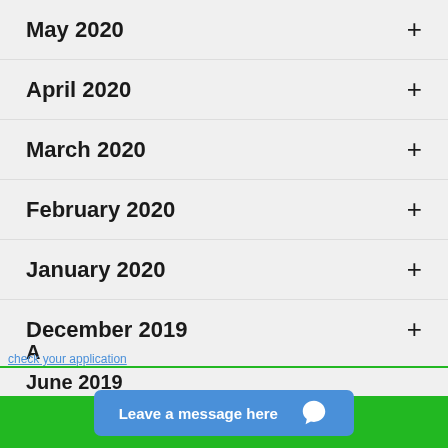May 2020 +
April 2020 +
March 2020 +
February 2020 +
January 2020 +
December 2019 +
November 2019 +
October 2019 +
September 2019 +
June 2019 +
[Figure (screenshot): Blue chat overlay button reading 'Leave a message here' with a chat icon, overlaid on a green 'APPLY NOW' bar at the bottom of the page]